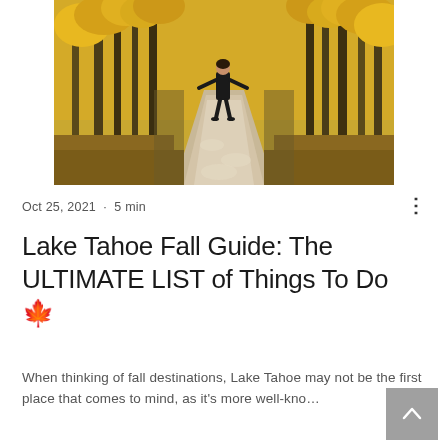[Figure (photo): A woman walking with arms outstretched along a gravel path through autumn aspen trees with golden yellow foliage]
Oct 25, 2021  ·  5 min
Lake Tahoe Fall Guide: The ULTIMATE LIST of Things To Do 🍂
When thinking of fall destinations, Lake Tahoe may not be the first place that comes to mind, as it's more well-kno…